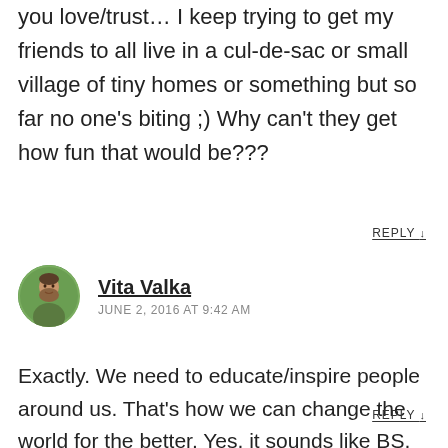you love/trust… I keep trying to get my friends to all live in a cul-de-sac or small village of tiny homes or something but so far no one's biting ;) Why can't they get how fun that would be???
REPLY ↓
Vita Valka
JUNE 2, 2016 AT 9:42 AM
Exactly. We need to educate/inspire people around us. That's how we can change the world for the better. Yes, it sounds like BS, but in reality, this is the way world changes.
REPLY ↓